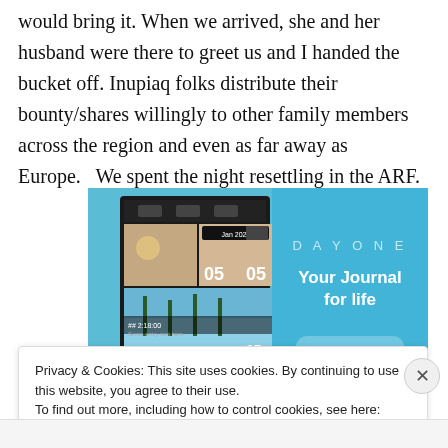would bring it. When we arrived, she and her husband were there to greet us and I handed the bucket off. Inupiaq folks distribute their bounty/shares willingly to other family members across the region and even as far away as Europe.   We spent the night resettling in the ARF.
[Figure (screenshot): DayOne journal app advertisement showing app screenshots on blue background with text 'DAY ONE' and 'Your Journal for life']
Privacy & Cookies: This site uses cookies. By continuing to use this website, you agree to their use.
To find out more, including how to control cookies, see here: Cookie Policy